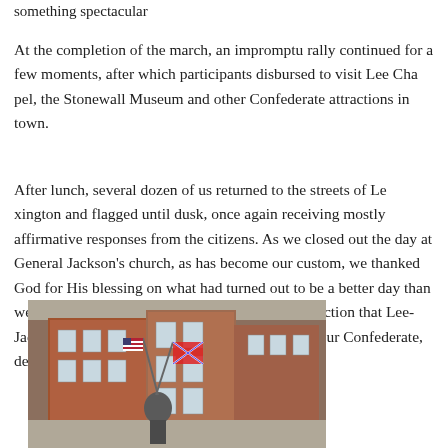something spectacular
At the completion of the march, an impromptu rally continued for a few moments, after which participants disbursed to visit Lee Chapel, the Stonewall Jackson Museum and other Confederate attractions in town.
After lunch, several dozen of us returned to the streets of Lexington and flagged until dusk, once again receiving mostly affirmative responses from Lexington's citizens. As we closed out the day at General Jackson's church, as has become our custom, we thanked God for His blessing on what had turned out to be a better day than we had dared to hope for...and left with the satisfaction that Lee-Jackson Day in Lexington had been dedicated to our Confederate, despite attempts by others to dishonor them.
[Figure (photo): A person holding an American flag and a Confederate battle flag standing on a street in front of brick buildings in what appears to be Lexington, Virginia.]